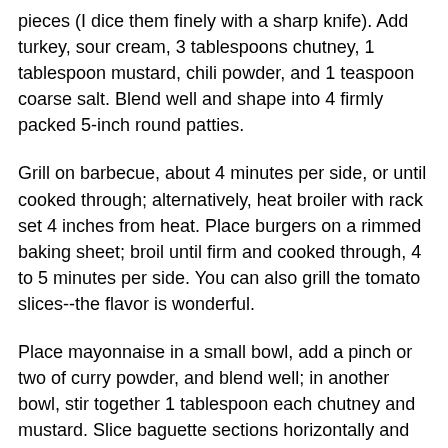pieces (I dice them finely with a sharp knife). Add turkey, sour cream, 3 tablespoons chutney, 1 tablespoon mustard, chili powder, and 1 teaspoon coarse salt. Blend well and shape into 4 firmly packed 5-inch round patties.
Grill on barbecue, about 4 minutes per side, or until cooked through; alternatively, heat broiler with rack set 4 inches from heat. Place burgers on a rimmed baking sheet; broil until firm and cooked through, 4 to 5 minutes per side. You can also grill the tomato slices--the flavor is wonderful.
Place mayonnaise in a small bowl, add a pinch or two of curry powder, and blend well; in another bowl, stir together 1 tablespoon each chutney and mustard. Slice baguette sections horizontally and toast very lightly. Top each baguette with some arugula, a burger, and a tomato slice; serve the curried mayonnaise and chutney-mustard alongside burgers.